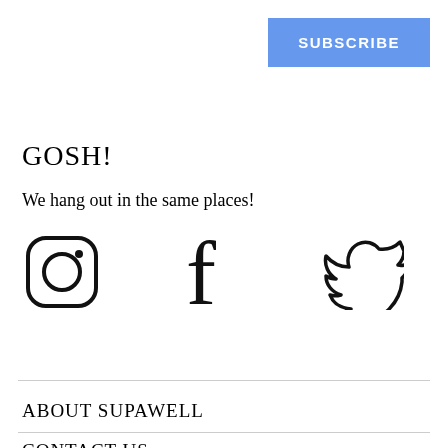SUBSCRIBE
GOSH!
We hang out in the same places!
[Figure (illustration): Three social media icons: Instagram, Facebook, Twitter (outlined style)]
ABOUT SUPAWELL
CONTACT US